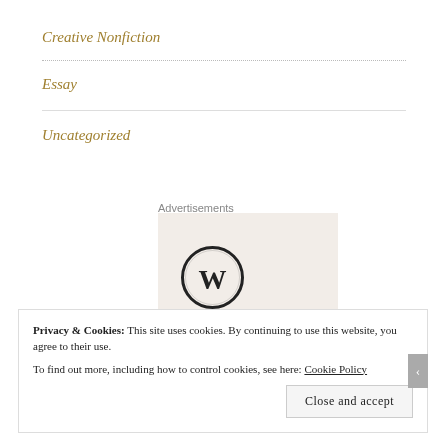Creative Nonfiction
Essay
Uncategorized
Advertisements
[Figure (logo): WordPress logo - circular W symbol in black on a beige/cream background]
Privacy & Cookies: This site uses cookies. By continuing to use this website, you agree to their use.
To find out more, including how to control cookies, see here: Cookie Policy
Close and accept